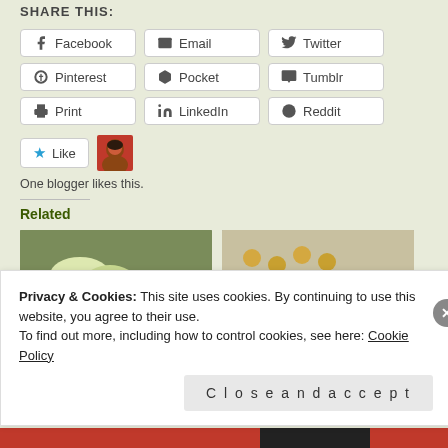SHARE THIS:
Facebook
Email
Twitter
Pinterest
Pocket
Tumblr
Print
LinkedIn
Reddit
One blogger likes this.
Related
[Figure (photo): Two food-related thumbnail images for related posts]
Privacy & Cookies: This site uses cookies. By continuing to use this website, you agree to their use. To find out more, including how to control cookies, see here: Cookie Policy